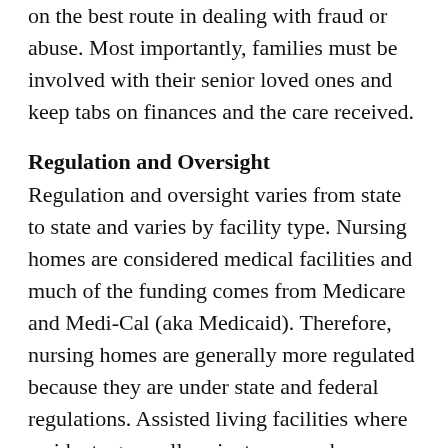Elder law attorneys can also help families advise on the best route in dealing with fraud or abuse. Most importantly, families must be involved with their senior loved ones and keep tabs on finances and the care received.
Regulation and Oversight
Regulation and oversight varies from state to state and varies by facility type. Nursing homes are considered medical facilities and much of the funding comes from Medicare and Medi-Cal (aka Medicaid). Therefore, nursing homes are generally more regulated because they are under state and federal regulations. Assisted living facilities where residents generally private pay and are considered non-medical have minimal regulation by the government. While each state has their own regulations for assisted living facilities, most states have not kept up with